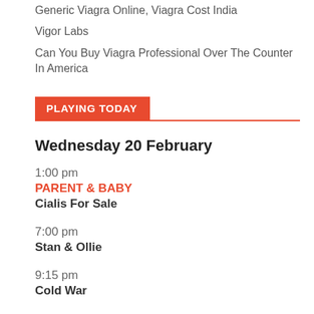Generic Viagra Online, Viagra Cost India
Vigor Labs
Can You Buy Viagra Professional Over The Counter In America
PLAYING TODAY
Wednesday 20 February
1:00 pm
PARENT & BABY
Cialis For Sale
7:00 pm
Stan & Ollie
9:15 pm
Cold War